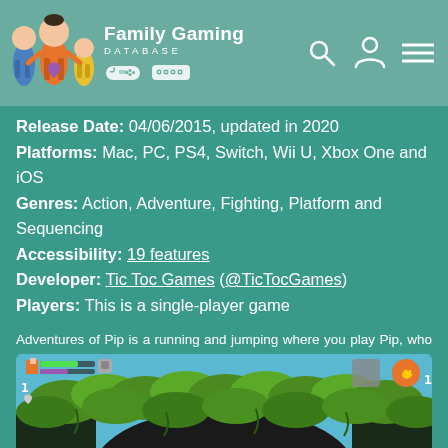Family Gaming DATABASE
Release Date: 04/06/2015, updated in 2020
Platforms: Mac, PC, PS4, Switch, Wii U, Xbox One and iOS
Genres: Action, Adventure, Fighting, Platform and Sequencing
Accessibility: 19 features
Developer: Tic Toc Games (@TicTocGames)
Players: This is a single-player game
Adventures of Pip is a running and jumping where you play Pip, who can transform between three different of himself (1-bit, 8-bit and 16-bit), each with different abilities. As you fight monsters and traverse the deadly terrain, you need to pick the...
[Figure (screenshot): Screenshot of Adventures of Pip game showing a forest/jungle level with leafy canopy and dark silhouette terrain, game HUD visible at top]